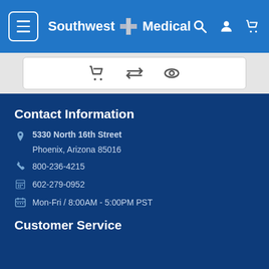Southwest Medical
[Figure (screenshot): Toolbar with shopping cart, compare arrows, and eye/view icons]
Contact Information
5330 North 16th Street
Phoenix, Arizona 85016
800-236-4215
602-279-0952
Mon-Fri / 8:00AM - 5:00PM PST
Customer Service